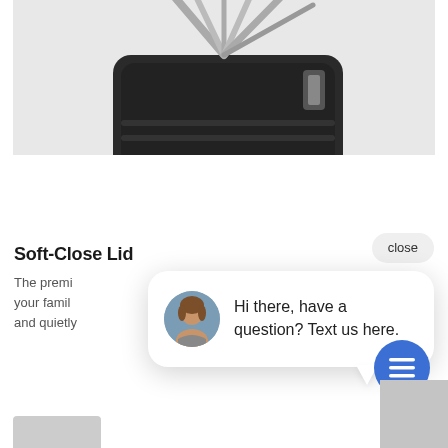[Figure (photo): Black luggage/toolbox with multiple silver tools or implements fanned out from it, photographed on a light gray background]
Soft-Close Lid
The premi... your famil... and quietly...
[Figure (screenshot): Chat popup widget with close button, avatar of a woman, and message 'Hi there, have a question? Text us here.' with blue chat icon button below]